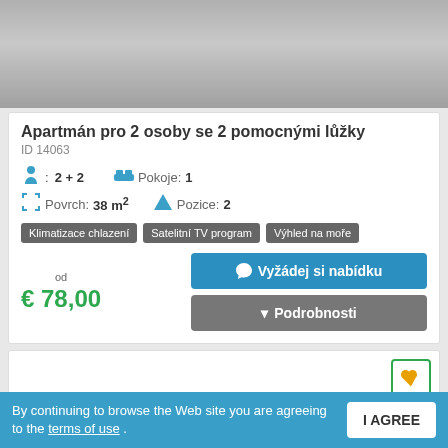[Figure (photo): Apartment photo placeholder, gray gradient]
Apartmán pro 2 osoby se 2 pomocnými lůžky
ID 14063
2 + 2   Pokoje: 1
Povrch: 38 m²   Pozice: 2
Klimatizace chlazení
Satelitní TV program
Výhled na moře
od € 78,00
Vyžádej si nabídku
Podrobnosti
[Figure (other): Second property card with heart/favorite button]
By continuing to browse the Web site you are agreeing to the terms of use .